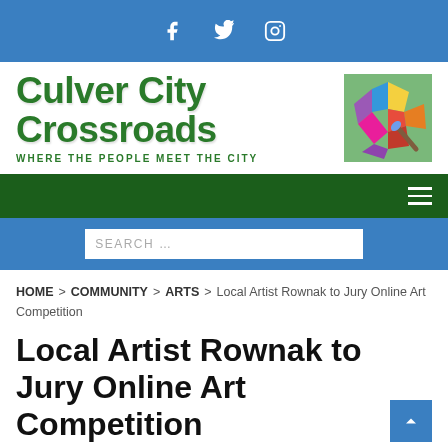Social media icons: Facebook, Twitter, Instagram
[Figure (logo): Culver City Crossroads logo with colorful city map icon and text 'WHERE THE PEOPLE MEET THE CITY']
Navigation bar with hamburger menu
Search bar with placeholder 'SEARCH ...'
HOME > COMMUNITY > ARTS > Local Artist Rownak to Jury Online Art Competition
Local Artist Rownak to Jury Online Art Competition